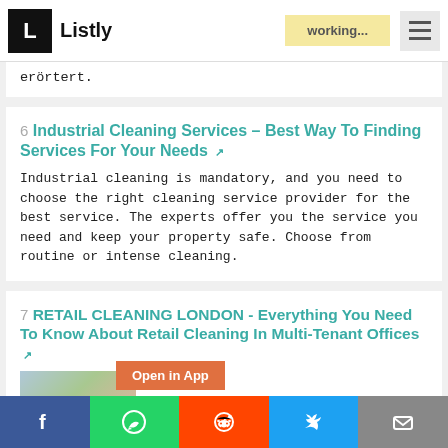Listly | working...
erörtert.
6 Industrial Cleaning Services – Best Way To Finding Services For Your Needs
Industrial cleaning is mandatory, and you need to choose the right cleaning service provider for the best service. The experts offer you the service you need and keep your property safe. Choose from routine or intense cleaning.
7 RETAIL CLEANING LONDON - Everything You Need To Know About Retail Cleaning In Multi-Tenant Offices
nt offices allow
[Figure (photo): Thumbnail image for retail cleaning article showing cleaning supplies]
Facebook | WhatsApp | Reddit | Twitter | Email